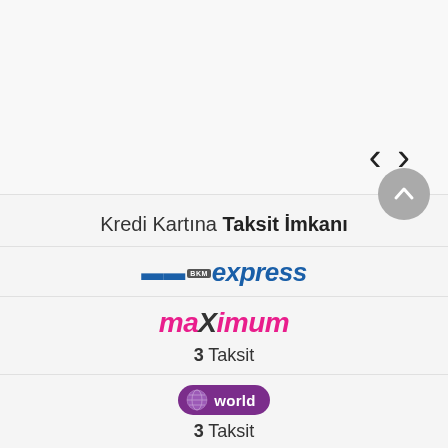[Figure (other): Navigation area with left and right angle bracket arrows (< >) for carousel navigation on a light gray background]
[Figure (other): Circular gray scroll-to-top button with upward chevron arrow]
Kredi Kartına Taksit İmkanı
[Figure (logo): BKM Express payment logo with dark blue italic 'express' text and arrow, small 'BKM' tag]
[Figure (logo): Maximum credit card logo in pink/magenta italic text]
3 Taksit
[Figure (logo): World card logo in purple pill-shaped badge with globe icon and 'world' text]
3 Taksit